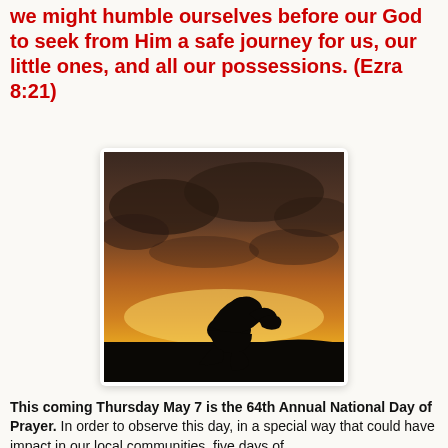we might humble ourselves before our God to seek from Him a safe journey for us, our little ones, and all our possessions. (Ezra 8:21)
[Figure (photo): Silhouette of a person kneeling in prayer against a dramatic orange and brown sunset sky with clouds]
This coming Thursday May 7 is the 64th Annual National Day of Prayer. In order to observe this day, in a special way that could have impact in our local communities, five days of